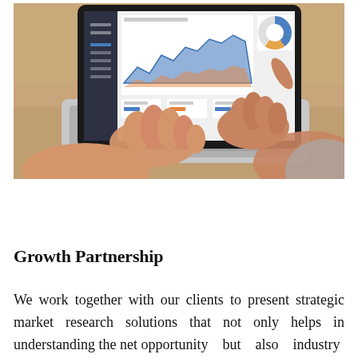[Figure (photo): Overhead photo of two people's hands — one typing on a laptop keyboard while another points at the screen, which displays a business analytics dashboard with area charts and a donut chart. The desk surface is wooden.]
Growth Partnership
We work together with our clients to present strategic market research solutions that not only helps in understanding the net opportunity but also industry